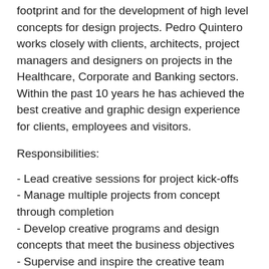footprint and for the development of high level concepts for design projects. Pedro Quintero works closely with clients, architects, project managers and designers on projects in the Healthcare, Corporate and Banking sectors. Within the past 10 years he has achieved the best creative and graphic design experience for clients, employees and visitors.
Responsibilities:
- Lead creative sessions for project kick-offs
- Manage multiple projects from concept through completion
- Develop creative programs and design concepts that meet the business objectives
- Supervise and inspire the creative team
- Work with internal teams to generate ideas for pitching and proposals
- Manage team members